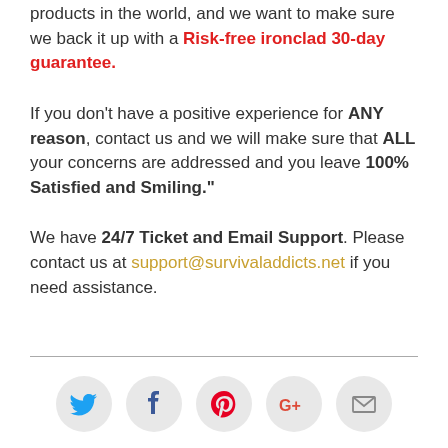products in the world, and we want to make sure we back it up with a Risk-free ironclad 30-day guarantee.
If you don't have a positive experience for ANY reason, contact us and we will make sure that ALL your concerns are addressed and you leave 100% Satisfied and Smiling."
We have 24/7 Ticket and Email Support. Please contact us at support@survivaladdicts.net if you need assistance.
[Figure (infographic): Social media sharing icons in circles: Twitter (blue bird), Facebook (dark f), Pinterest (red P), Google+ (red G+), Email (envelope)]